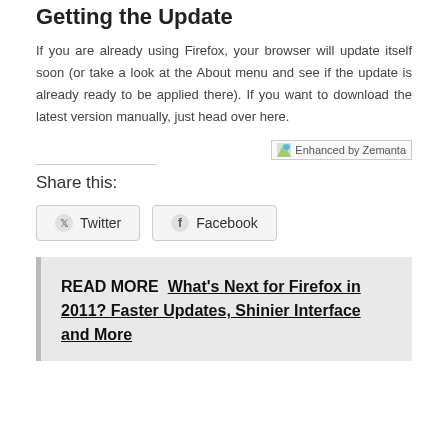Getting the Update
If you are already using Firefox, your browser will update itself soon (or take a look at the About menu and see if the update is already ready to be applied there). If you want to download the latest version manually, just head over here.
[Figure (other): Enhanced by Zemanta badge/image]
Share this:
Twitter  Facebook
READ MORE  What's Next for Firefox in 2011? Faster Updates, Shinier Interface and More